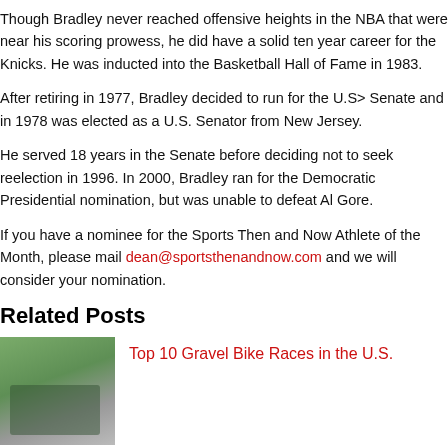Though Bradley never reached offensive heights in the NBA that were near his scoring prowess, he did have a solid ten year career for the Knicks. He was inducted into the Basketball Hall of Fame in 1983.
After retiring in 1977, Bradley decided to run for the U.S> Senate and in 1978 was elected as a U.S. Senator from New Jersey.
He served 18 years in the Senate before deciding not to seek reelection in 1996. In 2000, Bradley ran for the Democratic Presidential nomination, but was unable to defeat Al Gore.
If you have a nominee for the Sports Then and Now Athlete of the Month, please mail dean@sportsthenandnow.com and we will consider your nomination.
Related Posts
[Figure (photo): Cyclists riding on a gravel road surrounded by trees]
Top 10 Gravel Bike Races in the U.S.
[Figure (photo): Online casino jackpot slot machine with colorful lights]
Top Tips for Hitting the Progressive Jackpot at Online C...